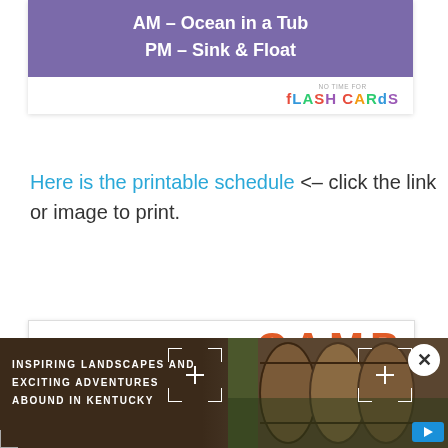[Figure (illustration): Purple banner card with text 'AM – Ocean in a Tub / PM – Sink & Float' and 'No Time for Flash Cards' logo in bottom right]
Here is the printable schedule <- click the link or image to print.
[Figure (illustration): Camp Learn & Play Water theme card with orange WATER block and camp logo icons]
[Figure (photo): Kentucky landscape advertisement banner with text 'INSPIRING LANDSCAPES AND EXCITING ADVENTURES ABOUND IN KENTUCKY']